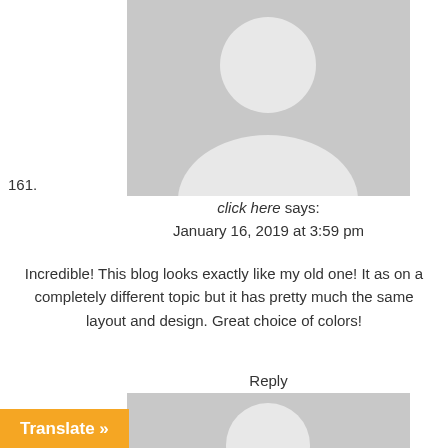[Figure (illustration): Gray placeholder avatar silhouette (head and shoulders) on light gray background, top section]
161.
click here says:
January 16, 2019 at 3:59 pm
Incredible! This blog looks exactly like my old one! It as on a completely different topic but it has pretty much the same layout and design. Great choice of colors!
Reply
[Figure (illustration): Gray placeholder avatar silhouette (head and shoulders) on light gray background, bottom section]
Translate »